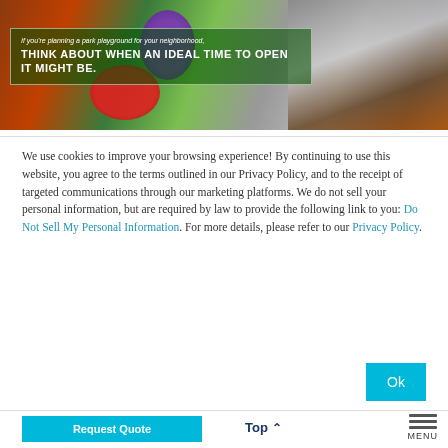[Figure (photo): Photo of colorful playground swings with an overlay text box. Small italic text reads 'If you're planning a park playground for your neighborhood,' followed by bold uppercase text 'THINK ABOUT WHEN AN IDEAL TIME TO OPEN IT MIGHT BE.']
We use cookies to improve your browsing experience! By continuing to use this website, you agree to the terms outlined in our Privacy Policy, and to the receipt of targeted communications through our marketing platforms. We do not sell your personal information, but are required by law to provide the following link to you: Do Not Sell My Personal Information. For more details, please refer to our Privacy Policy.